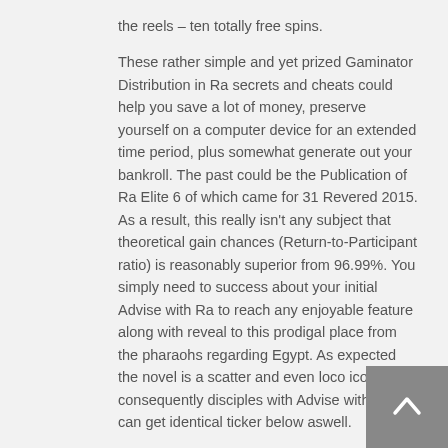the reels – ten totally free spins.
These rather simple and yet prized Gaminator Distribution in Ra secrets and cheats could help you save a lot of money, preserve yourself on a computer device for an extended time period, plus somewhat generate out your bankroll. The past could be the Publication of Ra Elite 6 of which came for 31 Revered 2015. As a result, this really isn't any subject that theoretical gain chances (Return-to-Participant ratio) is reasonably superior from 96.99%. You simply need to success about your initial Advise with Ra to reach any enjoyable feature along with reveal to this prodigal place from the pharaohs regarding Egypt. As expected the novel is a scatter and even loco icon, consequently disciples with Advise with Ra can get identical ticker below aswell.